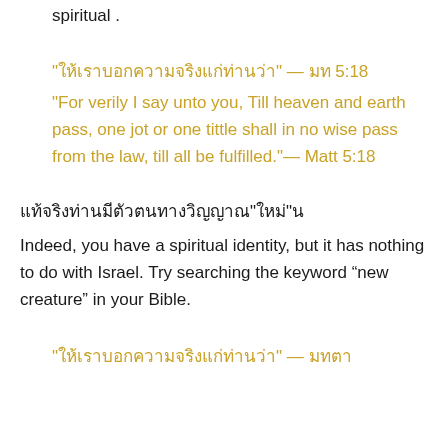spiritual .
“ให้เราบอกความจริงแก่ท่านว่า” — มท 5:18
“For verily I say unto you, Till heaven and earth pass, one jot or one tittle shall in no wise pass from the law, till all be fulfilled.”— Matt 5:18
แท้จริงท่านมีตัวตนทางวิญญาณ“ใหม่”น
Indeed, you have a spiritual identity, but it has nothing to do with Israel. Try searching the keyword “new creature” in your Bible.
“ให้เราบอกความจริงแก่ท่านว่า” — มทตา